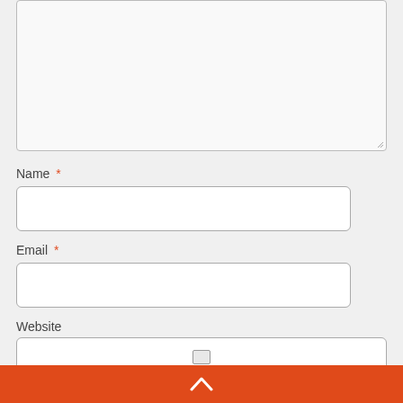[Figure (screenshot): Partially visible comment textarea input box with resize handle in bottom-right corner]
Name *
[Figure (screenshot): Name text input field, empty, with rounded border]
Email *
[Figure (screenshot): Email text input field, empty, with rounded border]
Website
[Figure (screenshot): Website text input field, empty, with rounded border]
[Figure (screenshot): Orange bottom navigation bar with white up-chevron arrow icon]